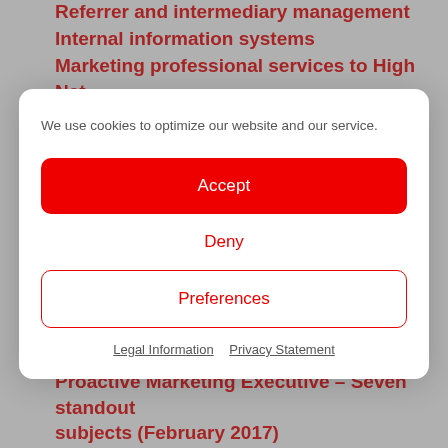Referrer and intermediary management
Internal information systems
Marketing professional services to High Net Worth clients
We use cookies to optimize our website and our service.
Accept
Deny
Preferences
Legal Information   Privacy Statement
into a professional service firm
Proactive Marketing Executive – Seven standout subjects (February 2017)